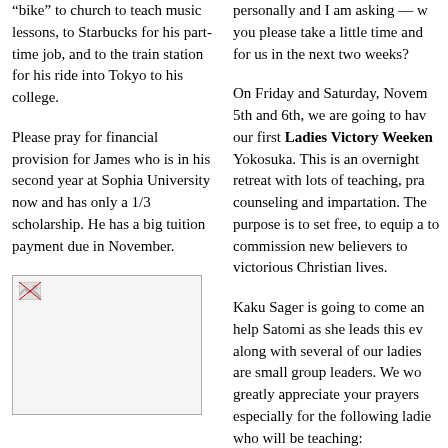“bike” to church to teach music lessons, to Starbucks for his part-time job, and to the train station for his ride into Tokyo to his college.
Please pray for financial provision for James who is in his second year at Sophia University now and has only a 1/3 scholarship. He has a big tuition payment due in November.
[Figure (photo): Image placeholder with broken image icon]
personally and I am asking — w you please take a little time and for us in the next two weeks?
On Friday and Saturday, Novem 5th and 6th, we are going to hav our first Ladies Victory Weeken Yokosuka. This is an overnight retreat with lots of teaching, pra counseling and impartation. The purpose is to set free, to equip a to commission new believers to victorious Christian lives.
Kaku Sager is going to come an help Satomi as she leads this ev along with several of our ladies are small group leaders. We wo greatly appreciate your prayers especially for the following ladie who will be teaching: